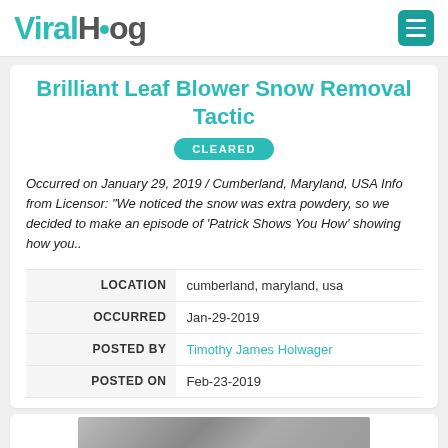ViralHog
Brilliant Leaf Blower Snow Removal Tactic
CLEARED
Occurred on January 29, 2019 / Cumberland, Maryland, USA Info from Licensor: "We noticed the snow was extra powdery, so we decided to make an episode of 'Patrick Shows You How' showing how you..
|  |  |
| --- | --- |
| LOCATION | cumberland, maryland, usa |
| OCCURRED | Jan-29-2019 |
| POSTED BY | Timothy James Holwager |
| POSTED ON | Feb-23-2019 |
[Figure (photo): Partial view of a black and white photo showing a road or driveway with snow]